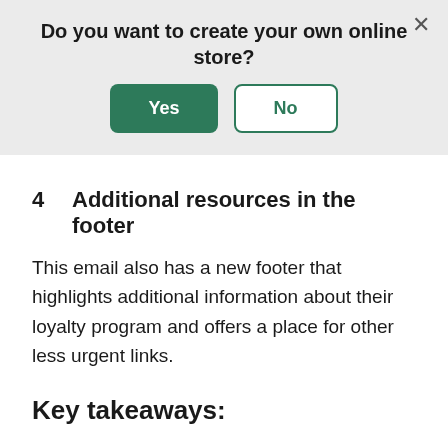[Figure (screenshot): A dialog banner with light gray background asking 'Do you want to create your own online store?' with a green 'Yes' button and a white 'No' button with green border, and a close X in the top right corner.]
4   Additional resources in the footer
This email also has a new footer that highlights additional information about their loyalty program and offers a place for other less urgent links.
Key takeaways:
When emailing a timely offer, like a Valentine's day sale, consider presenting